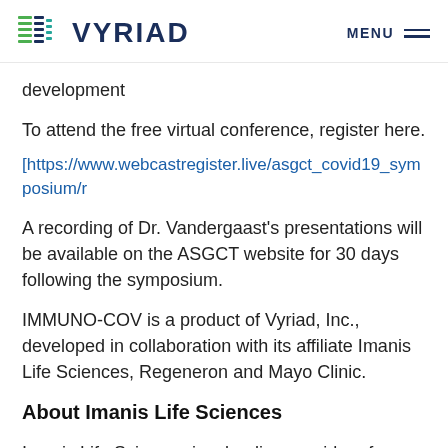VYRIAD | MENU
development
To attend the free virtual conference, register here.
[https://www.webcastregister.live/asgct_covid19_symposium/r
A recording of Dr. Vandergaast's presentations will be available on the ASGCT website for 30 days following the symposium.
IMMUNO-COV is a product of Vyriad, Inc., developed in collaboration with its affiliate Imanis Life Sciences, Regeneron and Mayo Clinic.
About Imanis Life Sciences
Imanis Life Sciences is a leading provider of products and services to accelerate development of viro-immuno-